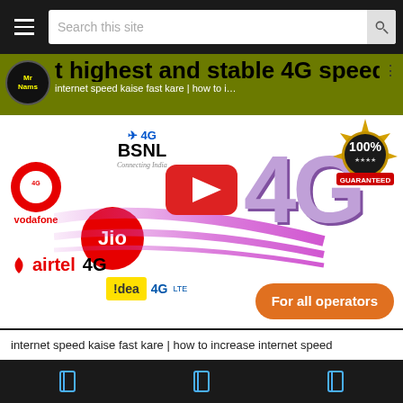Search this site
[Figure (screenshot): YouTube video thumbnail showing 4G internet speed tutorial with telecom operator logos (BSNL, Vodafone, Jio, Airtel, Idea), a large YouTube play button, 4G text, 100% Guaranteed badge, and 'For all operators' button on olive/white background. Channel: Mr Nams. Title: 'get highest and stable 4G speed']
internet speed kaise fast kare | how to increase internet speed
Navigation bar with home, bookmark, and share icons